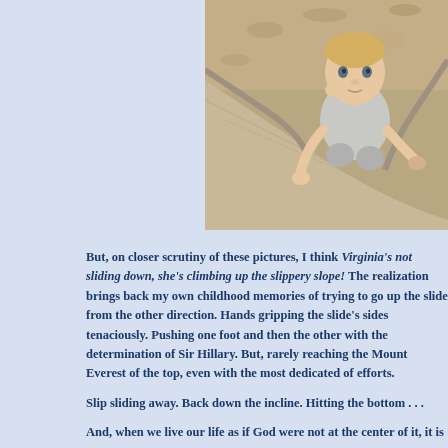[Figure (photo): A young toddler boy with blond hair climbing up a playground slide, looking at the camera with his hand near his mouth. The slide surface is tan/beige colored and there is wood chip ground cover visible at the top.]
But, on closer scrutiny of these pictures, I think Virginia's not sliding down, she's climbing up the slippery slope!  The realization brings back my own childhood memories of trying to go up the slide from the other direction.  Hands gripping the slide's sides tenaciously.  Pushing one foot and then the other with the determination of Sir Hillary.  But, rarely reaching the Mount Everest of the top, even with the most dedicated of efforts.
Slip sliding away.  Back down the incline.  Hitting the bottom . . .
And, when we live our life as if God were not at the center of it, it is a preca...